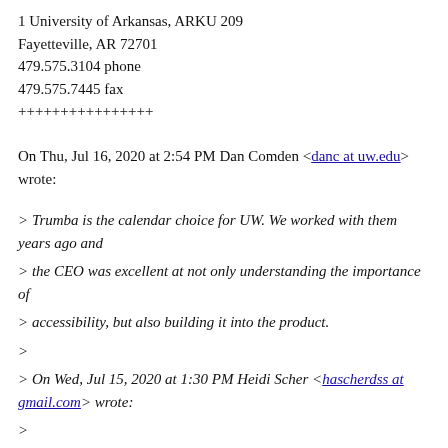1 University of Arkansas, ARKU 209
Fayetteville, AR 72701
479.575.3104 phone
479.575.7445 fax
++++++++++++++++
On Thu, Jul 16, 2020 at 2:54 PM Dan Comden <danc at uw.edu> wrote:
> Trumba is the calendar choice for UW. We worked with them years ago and
> the CEO was excellent at not only understanding the importance of
> accessibility, but also building it into the product.
>
> On Wed, Jul 15, 2020 at 1:30 PM Heidi Scher <hascherdss at gmail.com> wrote:
>